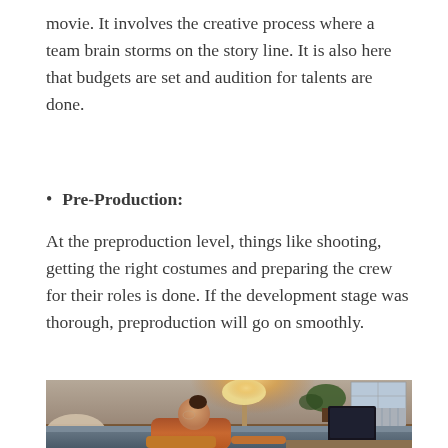movie. It involves the creative process where a team brain storms on the story line. It is also here that budgets are set and audition for talents are done.
Pre-Production:
At the preproduction level, things like shooting, getting the right costumes and preparing the crew for their roles is done. If the development stage was thorough, preproduction will go on smoothly.
[Figure (photo): A woman in an orange outfit sitting on a grey sofa, working on a computer monitor in a warmly lit room with a lamp, plant, and window visible in the background.]